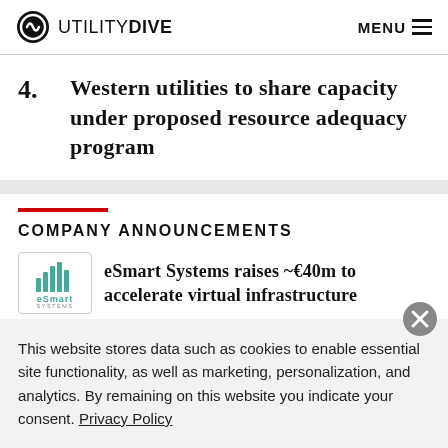UTILITY DIVE  MENU
4. Western utilities to share capacity under proposed resource adequacy program
COMPANY ANNOUNCEMENTS
eSmart Systems raises ~€40m to accelerate virtual infrastructure
This website stores data such as cookies to enable essential site functionality, as well as marketing, personalization, and analytics. By remaining on this website you indicate your consent. Privacy Policy